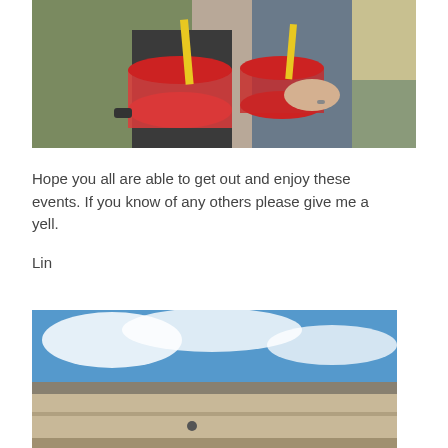[Figure (photo): Two people holding large red cups with yellow straws, appearing to be at an outdoor event. One person wears a green shirt, the other a blue-gray shirt.]
Hope you all are able to get out and enjoy these events. If you know of any others please give me a yell.
Lin
[Figure (photo): Exterior of a building with a beige/tan facade under a partly cloudy blue sky. The roofline and upper portion of the building are visible.]